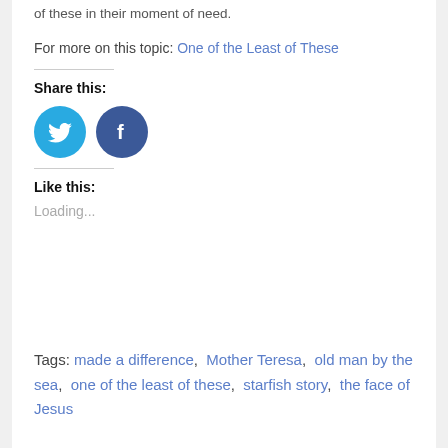of these in their moment of need.
For more on this topic: One of the Least of These
Share this:
[Figure (illustration): Twitter bird icon in a cyan circle and Facebook 'f' icon in a dark blue circle]
Like this:
Loading...
Tags: made a difference, Mother Teresa, old man by the sea, one of the least of these, starfish story, the face of Jesus